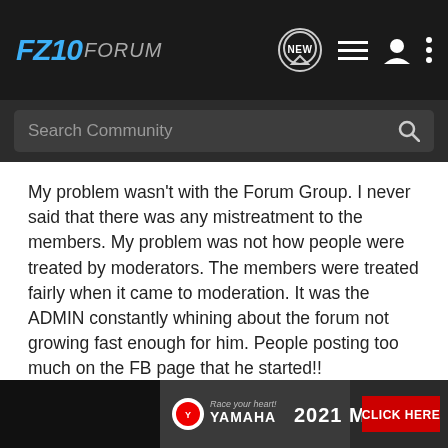FZ10 FORUM
My problem wasn't with the Forum Group. I never said that there was any mistreatment to the members. My problem was not how people were treated by moderators. The members were treated fairly when it came to moderation. It was the ADMIN constantly whining about the forum not growing fast enough for him. People posting too much on the FB page that he started!!
This Admin talked about how awful it was that the other MT Forum Admin just abandoned the place and is letting the Domain expire. This is the same thing that the Admin of the FZ10.O... Guess i... ...to do the
[Figure (screenshot): Yamaha 2021 MT-07 advertisement banner with CLICK HERE button]